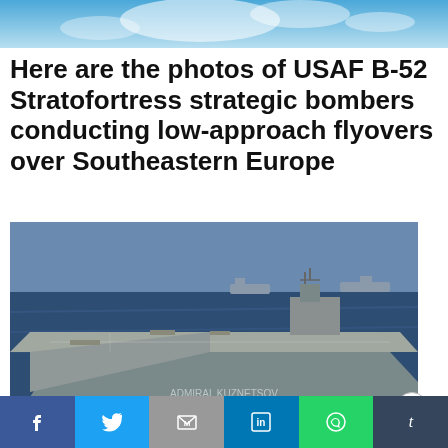[Figure (photo): Sky with blue clouds at the top of the page]
Here are the photos of USAF B-52 Stratofortress strategic bombers conducting low-approach flyovers over Southeastern Europe
[Figure (photo): Aircraft carrier at sea with escort ships in the background]
youtube.com
Airbus A340-500 and A340-600
OPEN
Facebook | Twitter | Mail | LinkedIn | WhatsApp | Tumblr